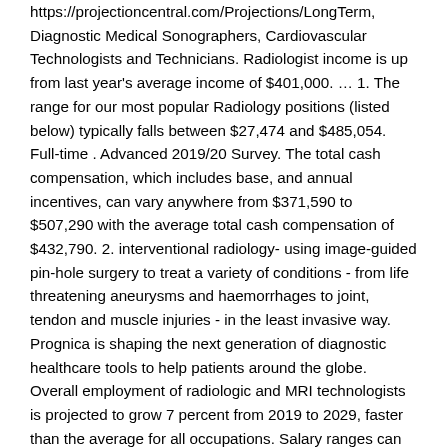https://projectioncentral.com/Projections/LongTerm, Diagnostic Medical Sonographers, Cardiovascular Technologists and Technicians. Radiologist income is up from last year's average income of $401,000. … 1. The range for our most popular Radiology positions (listed below) typically falls between $27,474 and $485,054. Full-time . Advanced 2019/20 Survey. The total cash compensation, which includes base, and annual incentives, can vary anywhere from $371,590 to $507,290 with the average total cash compensation of $432,790. 2. interventional radiology- using image-guided pin-hole surgery to treat a variety of conditions - from life threatening aneurysms and haemorrhages to joint, tendon and muscle injuries - in the least invasive way. Prognica is shaping the next generation of diagnostic healthcare tools to help patients around the globe. Overall employment of radiologic and MRI technologists is projected to grow 7 percent from 2019 to 2029, faster than the average for all occupations. Salary ranges can vary widely depending on many important factors, including education, certifications, additional skills, the number of years you have spent in your profession. share to linkedin. $49K. 6 Diagnostic